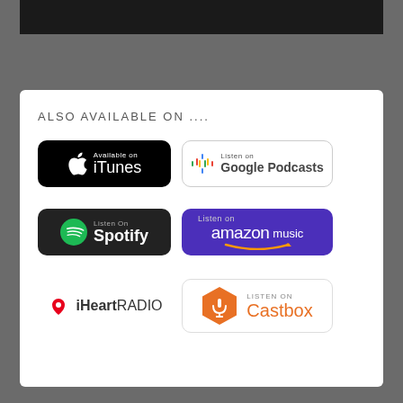ALSO AVAILABLE ON ....
[Figure (logo): Available on iTunes black button badge]
[Figure (logo): Listen on Google Podcasts button badge]
[Figure (logo): Listen On Spotify black button badge]
[Figure (logo): Listen on amazon music purple button badge]
[Figure (logo): iHeartRADIO text logo]
[Figure (logo): Listen on Castbox button badge with orange hexagon icon]